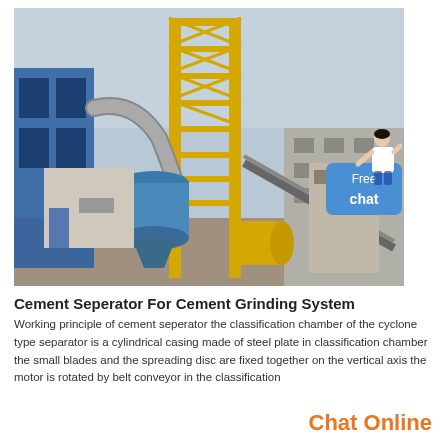[Figure (photo): Industrial cement plant facility with tall yellow steel framework tower, large blue cylindrical separator/cyclone unit, conveyor belts, industrial buildings, and grey overcast sky]
Cement Seperator For Cement Grinding System
Working principle of cement seperator the classification chamber of the cyclone type separator is a cylindrical casing made of steel plate in classification chamber the small blades and the spreading disc are fixed together on the vertical axis the motor is rotated by belt conveyor in the classification
Chat Online